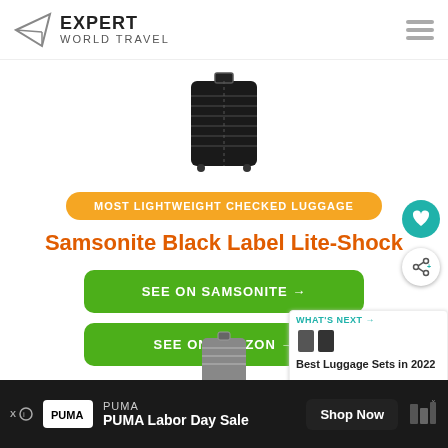EXPERT WORLD TRAVEL
[Figure (photo): Black Samsonite hard-shell rolling suitcase (Lite-Shock model) on white background]
MOST LIGHTWEIGHT CHECKED LUGGAGE
Samsonite Black Label Lite-Shock
SEE ON SAMSONITE →
SEE ON AMAZON →
[Figure (photo): Second luggage product image partially visible at bottom]
PUMA Labor Day Sale — Shop Now (advertisement)